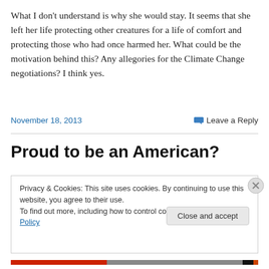What I don't understand is why she would stay. It seems that she left her life protecting other creatures for a life of comfort and protecting those who had once harmed her. What could be the motivation behind this? Any allegories for the Climate Change negotiations? I think yes.
November 18, 2013
Leave a Reply
Proud to be an American?
Privacy & Cookies: This site uses cookies. By continuing to use this website, you agree to their use.
To find out more, including how to control cookies, see here: Cookie Policy
Close and accept